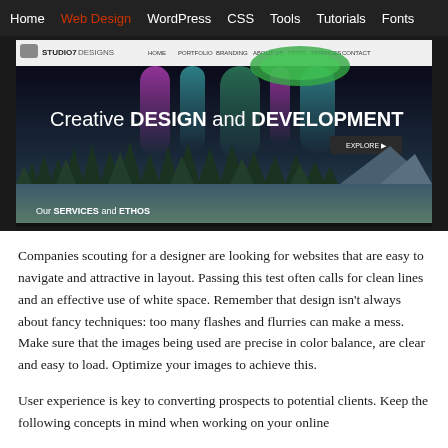Home | Web Design | WordPress | CSS | Tools | Tutorials | Fonts
[Figure (screenshot): Screenshot of Studio7Designs website featuring a dark header with navigation (HOME, PORTFOLIO, BRANDING, ABOUT US, NEWS, SERVICES, CONTACT), a hero banner with colorful aurora borealis and forest silhouette illustration, text reading 'Creative DESIGN and DEVELOPMENT', an EXPLORE button, and at the bottom 'Our SERVICES and ETHOS']
Companies scouting for a designer are looking for websites that are easy to navigate and attractive in layout. Passing this test often calls for clean lines and an effective use of white space. Remember that design isn't always about fancy techniques: too many flashes and flurries can make a mess. Make sure that the images being used are precise in color balance, are clear and easy to load. Optimize your images to achieve this.
User experience is key to converting prospects to potential clients. Keep the following concepts in mind when working on your online